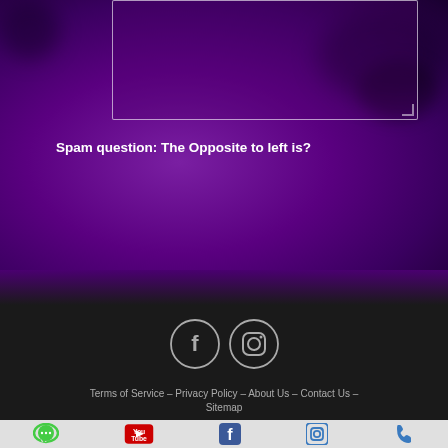Spam question: The Opposite to left is?
SEND
[Figure (other): Social media icons: Facebook and Instagram circles]
Terms of Service – Privacy Policy – About Us – Contact Us – Sitemap
[Figure (other): Bottom navigation bar with icons: chat, YouTube, Facebook, Instagram, phone]